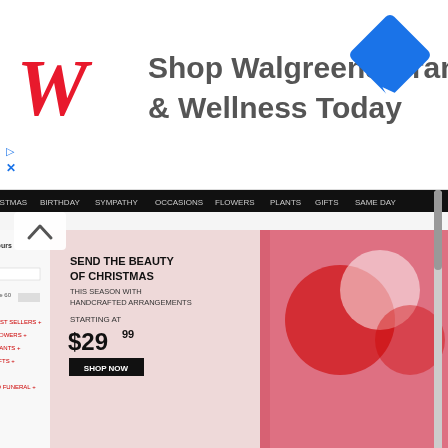[Figure (screenshot): Walgreens advertisement banner with Walgreens cursive W logo in red, text 'Shop Walgreens Brand Health & Wellness Today', and a blue navigation arrow icon on the right]
[Figure (screenshot): FTD.com website screenshot showing Christmas flower arrangements with text 'SEND THE BEAUTY OF CHRISTMAS THIS SEASON WITH HANDCRAFTED ARRANGEMENTS STARTING AT $29.99 SHOP NOW', and three bottom panels: Gourmet, 12 Deals of Christmas, Same Day Delivery]
[Figure (screenshot): Like button (blue, showing heart icon and Like with count 0) and Scroll Top link in blue text]
[Figure (logo): FTD Mercury Man running logo]
ftd.com
flower delivery: send flowers online | ftd
send fresh flowers online and have them delivered today with ftd. we are an industry leader in online flower delivery...